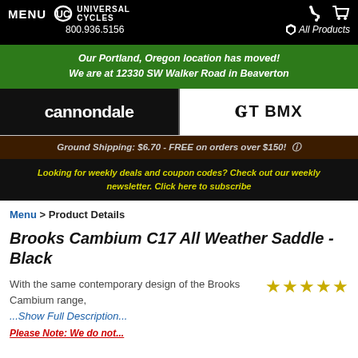MENU  UC UNIVERSAL CYCLES  800.936.5156  All Products
Our Portland, Oregon location has moved! We are at 12330 SW Walker Road in Beaverton
[Figure (logo): cannondale logo (white text on black background) and GT BMX logo (black text on white background) side by side]
Ground Shipping: $6.70 - FREE on orders over $150! ⓘ
Looking for weekly deals and coupon codes? Check out our weekly newsletter. Click here to subscribe
Menu > Product Details
Brooks Cambium C17 All Weather Saddle - Black
With the same contemporary design of the Brooks Cambium range, ...Show Full Description...
[Figure (other): Five gold star rating]
Please Note: We do not...